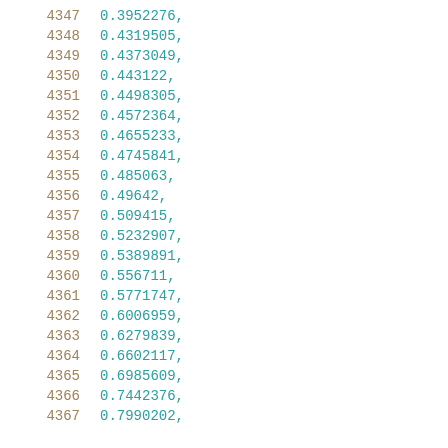4347    0.3952276,
4348    0.4319505,
4349    0.4373049,
4350    0.443122,
4351    0.4498305,
4352    0.4572364,
4353    0.4655233,
4354    0.4745841,
4355    0.485063,
4356    0.49642,
4357    0.509415,
4358    0.5232907,
4359    0.5389891,
4360    0.556711,
4361    0.5771747,
4362    0.6006959,
4363    0.6279839,
4364    0.6602117,
4365    0.6985609,
4366    0.7442376,
4367    0.7990202,